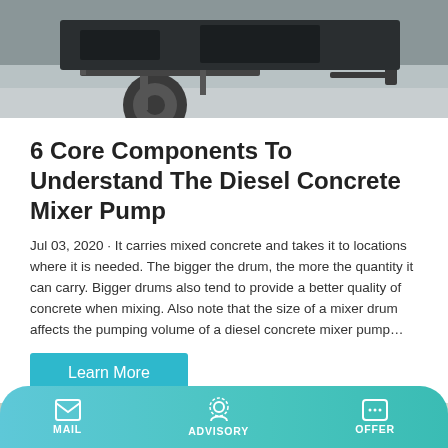[Figure (photo): Top portion of a diesel concrete mixer pump machinery, showing a wheel and mechanical components, photographed outdoors on concrete ground.]
6 Core Components To Understand The Diesel Concrete Mixer Pump
Jul 03, 2020 · It carries mixed concrete and takes it to locations where it is needed. The bigger the drum, the more the quantity it can carry. Bigger drums also tend to provide a better quality of concrete when mixing. Also note that the size of a mixer drum affects the pumping volume of a diesel concrete mixer pump…
[Figure (photo): Bottom portion of page showing a truck and industrial building facade, partially visible.]
MAIL   ADVISORY   OFFER